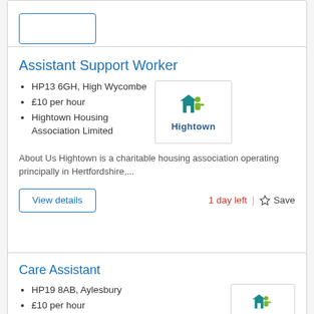Assistant Support Worker
HP13 6GH, High Wycombe
£10 per hour
Hightown Housing Association Limited
About Us Hightown is a charitable housing association operating principally in Hertfordshire,...
[Figure (logo): Hightown Housing Association logo - house icons in teal and green with 'Hightown' text below]
1 day left
Care Assistant
HP19 8AB, Aylesbury
£10 per hour